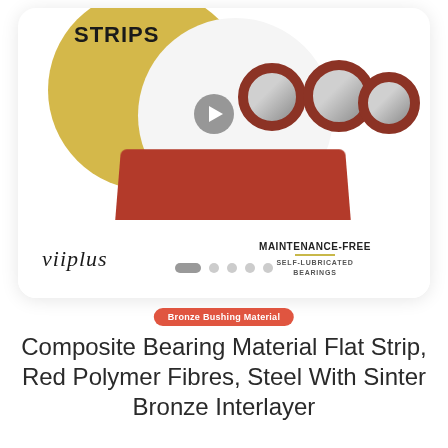[Figure (photo): Product card showing composite bearing material flat strip (red polymer) and metal bushings/rings, with STRIPS label, viiplus logo, and MAINTENANCE-FREE SELF-LUBRICATED BEARINGS text. Video play button overlay. Yellow decorative blob background.]
Bronze Bushing Material
Composite Bearing Material Flat Strip, Red Polymer Fibres, Steel With Sinter Bronze Interlayer